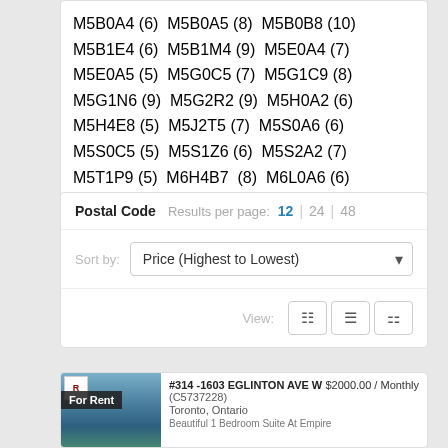M5B0A4 (6) M5B0A5 (8) M5B0B8 (10) M5B1E4 (6) M5B1M4 (9) M5E0A4 (7) M5E0A5 (5) M5G0C5 (7) M5G1C9 (8) M5G1N6 (9) M5G2R2 (9) M5H0A2 (6) M5H4E8 (5) M5J2T5 (7) M5S0A6 (6) M5S0C5 (5) M5S1Z6 (6) M5S2A2 (7) M5T1P9 (5) M6H4B7 (8) M6L0A6 (6) M6N1K8 (7) M8V0C4 (5) M8V0J1 (5)
Postal Code Results per page: 12 | 24 | 48
Sort by: Price (Highest to Lowest)
View:
#314 -1603 EGLINTON AVE W (C5737228) $2000.00 / Monthly Toronto, Ontario Beautiful 1 Bedroom Suite At Empire